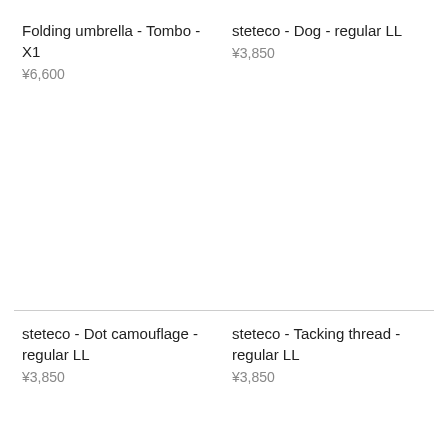Folding umbrella - Tombo - X1
¥6,600
steteco - Dog - regular LL
¥3,850
steteco - Dot camouflage - regular LL
¥3,850
steteco - Tacking thread - regular LL
¥3,850